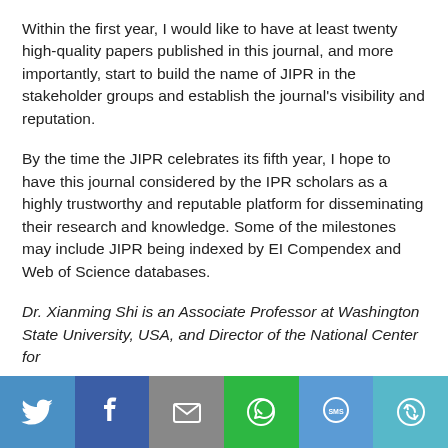Within the first year, I would like to have at least twenty high-quality papers published in this journal, and more importantly, start to build the name of JIPR in the stakeholder groups and establish the journal's visibility and reputation.
By the time the JIPR celebrates its fifth year, I hope to have this journal considered by the IPR scholars as a highly trustworthy and reputable platform for disseminating their research and knowledge. Some of the milestones may include JIPR being indexed by EI Compendex and Web of Science databases.
Dr. Xianming Shi is an Associate Professor at Washington State University, USA, and Director of the National Center for
[Figure (infographic): Social media sharing bar with six buttons: Twitter (blue bird icon), Facebook (blue with f icon), Email (grey with envelope icon), WhatsApp (green with phone icon), SMS (blue with SMS bubble icon), and a share/other icon (teal with circular arrow icon)]